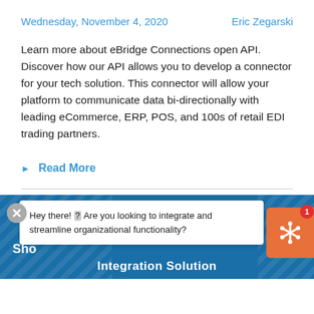Wednesday, November 4, 2020    Eric Zegarski
Learn more about eBridge Connections open API. Discover how our API allows you to develop a connector for your tech solution. This connector will allow your platform to communicate data bi-directionally with leading eCommerce, ERP, POS, and 100s of retail EDI trading partners.
Read More
[Figure (screenshot): Blue banner with diagonal stripes showing partial text 'Sho' and 'Integration Solution' at bottom, overlaid with a chat popup: 'Hey there! Are you looking to integrate and streamline organizational functionality?' with a close button and an orange chat icon with notification badge showing 1]